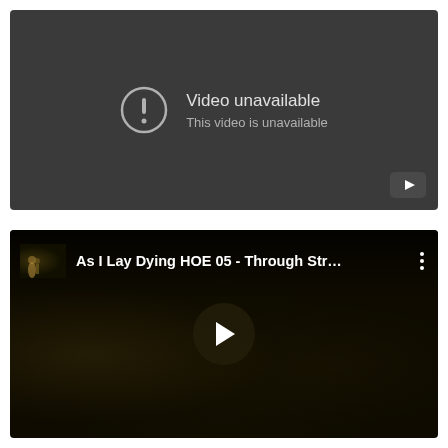[Figure (screenshot): YouTube video player showing 'Video unavailable' error message with exclamation mark icon in circle on dark grey background. YouTube logo button in bottom right corner.]
[Figure (screenshot): YouTube video player for 'As I Lay Dying HOE 05 - Through Str...' showing dark night scene with play button in centre. Video title visible in top bar with thumbnail and three-dot menu icon.]